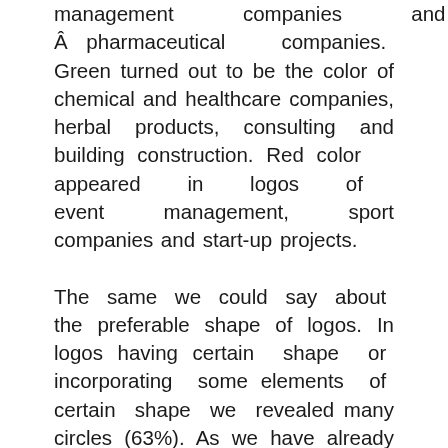management companies and Â pharmaceutical companies. Green turned out to be the color of chemical and healthcare companies, herbal products, consulting and building construction. Red color appeared in logos of event management, sport companies and start-up projects.
The same we could say about the preferable shape of logos. In logos having certain shape or incorporating some elements of certain shape we revealed many circles (63%). As we have already mentioned this trend in our blog, we would just explain shortly the popularity of